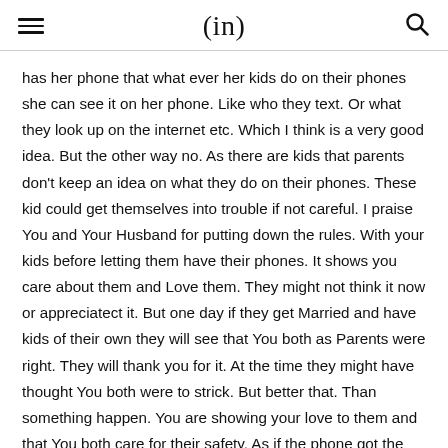(in)
has her phone that what ever her kids do on their phones she can see it on her phone. Like who they text. Or what they look up on the internet etc. Which I think is a very good idea. But the other way no. As there are kids that parents don't keep an idea on what they do on their phones. These kid could get themselves into trouble if not careful. I praise You and Your Husband for putting down the rules. With your kids before letting them have their phones. It shows you care about them and Love them. They might not think it now or appreciatect it. But one day if they get Married and have kids of their own they will see that You both as Parents were right. They will thank you for it. At the time they might have thought You both were to strick. But better that. Than something happen. You are showing your love to them and that You both care for their safety. As if the phone got the internet on it we have to be so careful when on it. It just like us Followers of Jesus. We